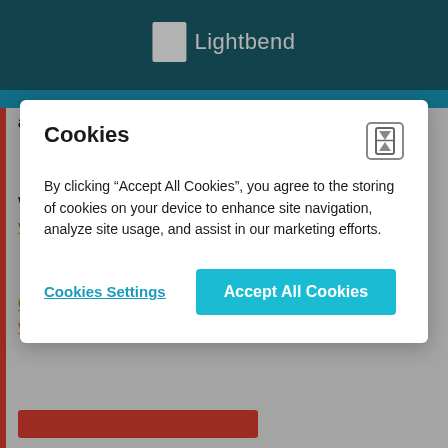[Figure (screenshot): Lightbend website header with teal background and white Lightbend logo]
artifacts you are using!
We recommend that you head over to the latest stable version instead.
Click here to go to the same page on the latest stable version of the docs.
Cookies
By clicking “Accept All Cookies”, you agree to the storing of cookies on your device to enhance site navigation, analyze site usage, and assist in our marketing efforts.
Cookies Settings
Accept All Cookies